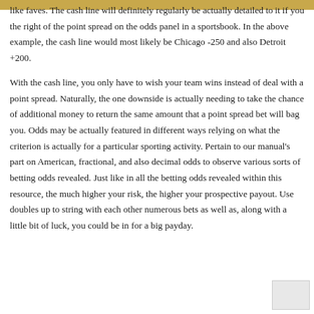it if you like faves. The cash line will definitely regularly be actually detailed to the right of the point spread on the odds panel in a sportsbook. In the above example, the cash line would most likely be Chicago -250 and also Detroit +200.
With the cash line, you only have to wish your team wins instead of deal with a point spread. Naturally, the one downside is actually needing to take the chance of additional money to return the same amount that a point spread bet will bag you. Odds may be actually featured in different ways relying on what the criterion is actually for a particular sporting activity. Pertain to our manual’s part on American, fractional, and also decimal odds to observe various sorts of betting odds revealed. Just like in all the betting odds revealed within this resource, the much higher your risk, the higher your prospective payout. Use doubles up to string with each other numerous bets as well as, along with a little bit of luck, you could be in for a big payday.